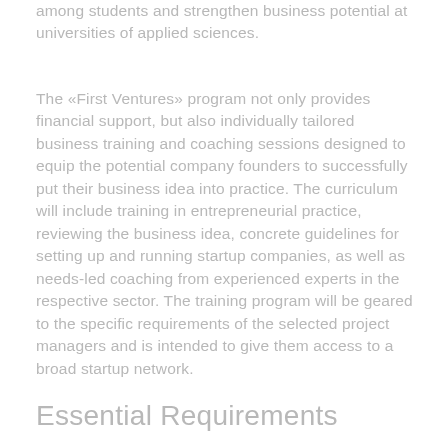among students and strengthen business potential at universities of applied sciences.
The «First Ventures» program not only provides financial support, but also individually tailored business training and coaching sessions designed to equip the potential company founders to successfully put their business idea into practice. The curriculum will include training in entrepreneurial practice, reviewing the business idea, concrete guidelines for setting up and running startup companies, as well as needs-led coaching from experienced experts in the respective sector. The training program will be geared to the specific requirements of the selected project managers and is intended to give them access to a broad startup network.
Essential Requirements